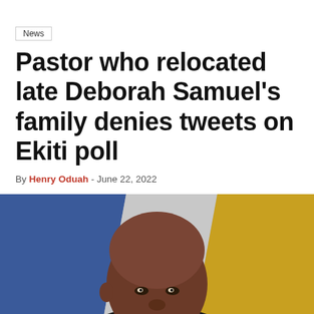News
Pastor who relocated late Deborah Samuel's family denies tweets on Ekiti poll
By Henry Oduah - June 22, 2022
[Figure (photo): A bald Black man in a dark suit with a red bow tie, photographed from below against a blurred background with blue and yellow/gold fabric or banners.]